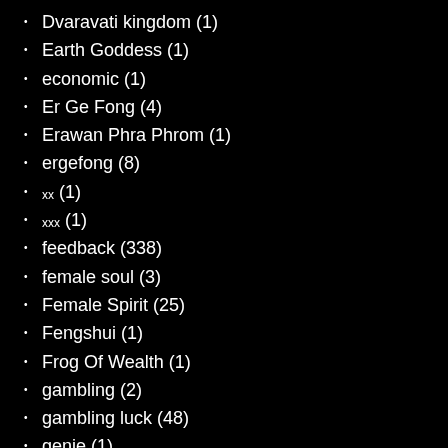Dvaravati kingdom (1)
Earth Goddess (1)
economic (1)
Er Ge Fong (4)
Erawan Phra Phrom (1)
ergefong (8)
xx (1)
xxx (1)
feedback (338)
female soul (3)
Female Spirit (25)
Fengshui (1)
Frog Of Wealth (1)
gambling (2)
gambling luck (48)
genie (1)
god of fortune (1)
golden boy xxx (4)
good luck (5)